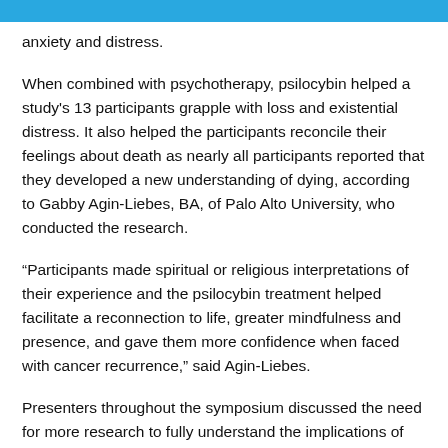anxiety and distress.
When combined with psychotherapy, psilocybin helped a study's 13 participants grapple with loss and existential distress. It also helped the participants reconcile their feelings about death as nearly all participants reported that they developed a new understanding of dying, according to Gabby Agin-Liebes, BA, of Palo Alto University, who conducted the research.
“Participants made spiritual or religious interpretations of their experience and the psilocybin treatment helped facilitate a reconnection to life, greater mindfulness and presence, and gave them more confidence when faced with cancer recurrence,” said Agin-Liebes.
Presenters throughout the symposium discussed the need for more research to fully understand the implications of